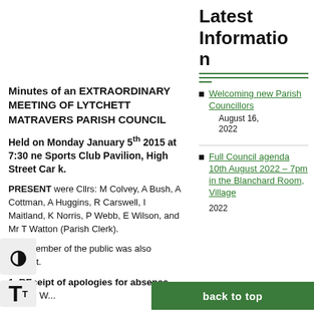Latest Information
Minutes of an EXTRAORDINARY MEETING OF LYTCHETT MATRAVERS PARISH COUNCIL
Held on Monday January 5th 2015 at 7:30 ne Sports Club Pavilion, High Street Car k.
PRESENT were Cllrs: M Colvey, A Bush, A Cottman, A Huggins, R Carswell, I Maitland, K Norris, P Webb, E Wilson, and Mr T Watton (Parish Clerk).
One member of the public was also present.
Welcoming new Parish Councillors — August 16, 2022
Full Council agenda 10th August 2022 – 7pm in the Blanchard Room, Village ... 2022
1. REceipt of apologies for absence – Cllrs C W...